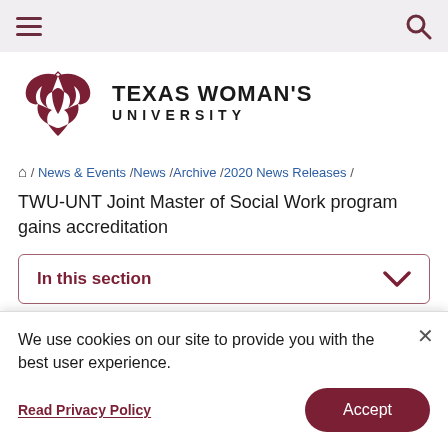Navigation bar with hamburger menu and search icon
[Figure (logo): Texas Woman's University logo — stylized TWU emblem in dark red with 'TEXAS WOMAN'S UNIVERSITY' text]
Home / News & Events / News / Archive / 2020 News Releases / TWU-UNT Joint Master of Social Work program gains accreditation
TWU-UNT Joint Master of Social Work program gains accreditation
In this section
We use cookies on our site to provide you with the best user experience.
Read Privacy Policy
Accept